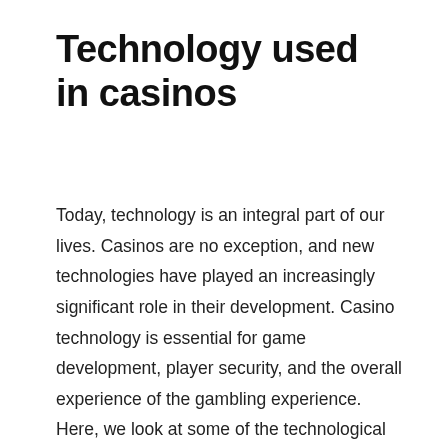Technology used in casinos
Today, technology is an integral part of our lives. Casinos are no exception, and new technologies have played an increasingly significant role in their development. Casino technology is essential for game development, player security, and the overall experience of the gambling experience. Here, we look at some of the technological developments that have had the most impact on the casino industry. You will find that some of the latest technologies are extremely